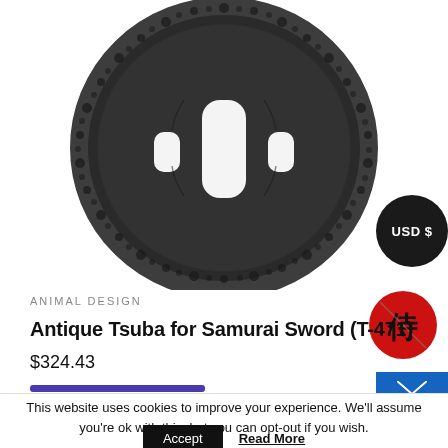[Figure (photo): Antique Japanese tsuba (sword guard) with circular shape, two slots, and textured animal/floral relief design, photographed on white background. Dark iron color.]
[Figure (logo): Black circular badge with white text reading 'USD $']
[Figure (logo): Red circular logo with Japanese kanji character in black]
ANIMAL DESIGN
Antique Tsuba for Samurai Sword (T-471)
$324.43
This website uses cookies to improve your experience. We'll assume you're ok with this, but you can opt-out if you wish.
Accept
Read More